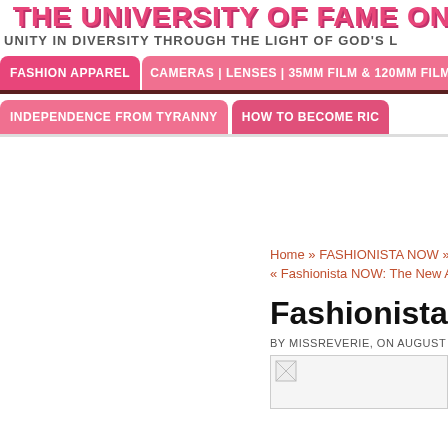THE UNIVERSITY OF FAME ONLINE
UNITY IN DIVERSITY THROUGH THE LIGHT OF GOD'S L
FASHION APPAREL
CAMERAS | LENSES | 35MM FILM & 120MM FILM
INDEPENDENCE FROM TYRANNY
HOW TO BECOME RIC
Home » FASHIONISTA NOW » Fashionis
« Fashionista NOW: The New Asymmetri
Fashionista NOW: 7 Ef
BY MISSREVERIE, ON AUGUST 14TH, 201
[Figure (photo): Image placeholder with broken image icon]